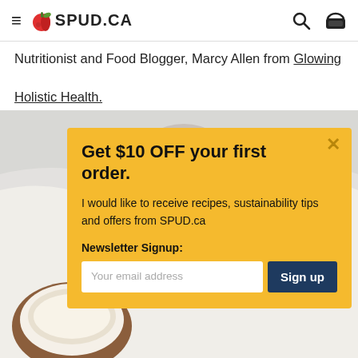≡ 🍎 SPUD.CA | [search icon] [basket icon]
Nutritionist and Food Blogger, Marcy Allen from Glowing Holistic Health.
[Figure (photo): Food photo showing blackberries on a white cloth and a bowl with liquid, partially obscured by a yellow modal popup]
Get $10 OFF your first order.
I would like to receive recipes, sustainability tips and offers from SPUD.ca
Newsletter Signup:
Your email address | Sign up